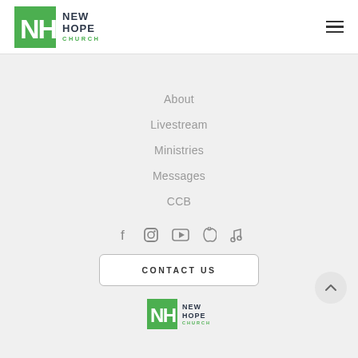[Figure (logo): New Hope Church logo with green NH monogram and dark blue-gray text]
About
Livestream
Ministries
Messages
CCB
[Figure (infographic): Social media icons row: Facebook, Instagram, YouTube, Apple, Music note]
CONTACT US
[Figure (logo): New Hope Church small footer logo]